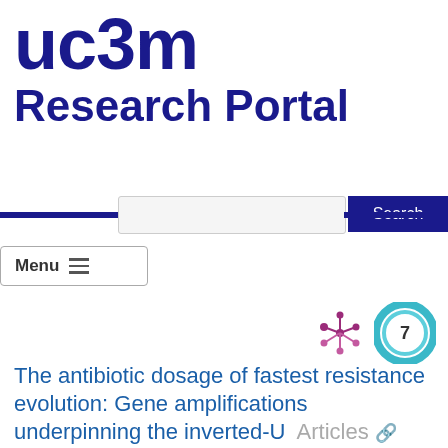[Figure (logo): UC3M Research Portal logo with dark blue bold text 'uc3m' on top and 'Research Portal' below]
[Figure (screenshot): Search bar UI element with input box and Search button, plus Menu hamburger button below]
[Figure (infographic): Altmetric-style badge icons: a purple asterisk/network icon and a teal circular badge showing the number 7]
The antibiotic dosage of fastest resistance evolution: Gene amplifications underpinning the inverted-U  Articles